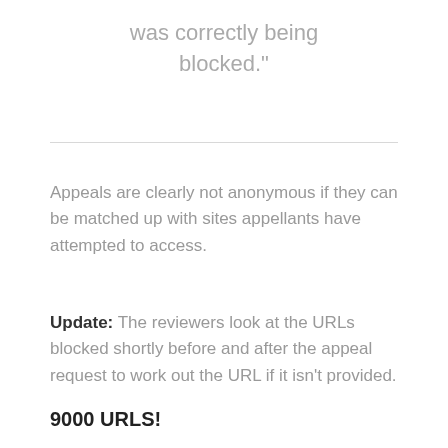was correctly being blocked."
Appeals are clearly not anonymous if they can be matched up with sites appellants have attempted to access.
Update: The reviewers look at the URLs blocked shortly before and after the appeal request to work out the URL if it isn't provided.
9000 URLS!